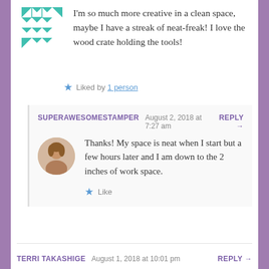I'm so much more creative in a clean space, maybe I have a streak of neat-freak! I love the wood crate holding the tools!
Liked by 1 person
SUPERAWESOMESTAMPER  August 2, 2018 at 7:27 am  REPLY →
Thanks! My space is neat when I start but a few hours later and I am down to the 2 inches of work space.
Like
TERRI TAKASHIGE  August 1, 2018 at 10:01 pm  REPLY →